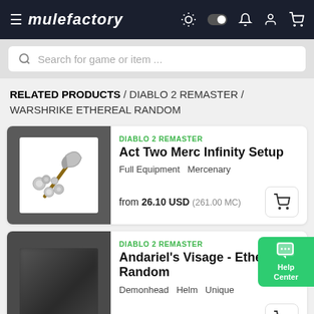mulefactory
Search for game or item ...
RELATED PRODUCTS / DIABLO 2 REMASTER / WARSHRIKE ETHEREAL RANDOM
[Figure (illustration): Product card image: axe weapon with grey orbs/spheres around it on dark background]
DIABLO 2 REMASTER
Act Two Merc Infinity Setup
Full Equipment  Mercenary
from 26.10 USD (261.00 MC)
[Figure (illustration): Product card image: blurred dark image for Andariel's Visage helm]
DIABLO 2 REMASTER
Andariel's Visage - Ethereal - Random
Demonhead  Helm  Unique
from 6.00 USD (60.00 MC)